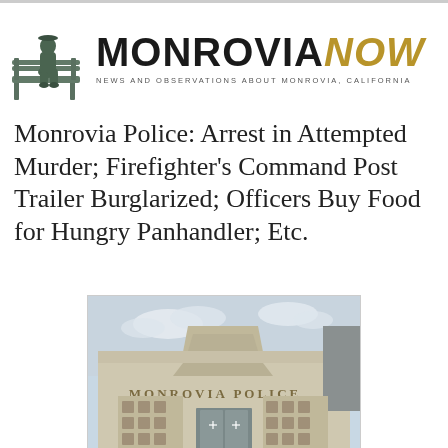[Figure (logo): Monrovia Now logo: a bronze statue of a figure seated on a bench on the left, and bold text 'MONROVIA NOW' with subtitle 'NEWS AND OBSERVATIONS ABOUT MONROVIA CALIFORNIA']
Monrovia Police: Arrest in Attempted Murder; Firefighter's Command Post Trailer Burglarized; Officers Buy Food for Hungry Panhandler; Etc.
[Figure (photo): Exterior photo of Monrovia Police building with the words 'MONROVIA POLICE' engraved on the facade. The building is light tan/beige with decorative architectural details and glass entrance doors.]